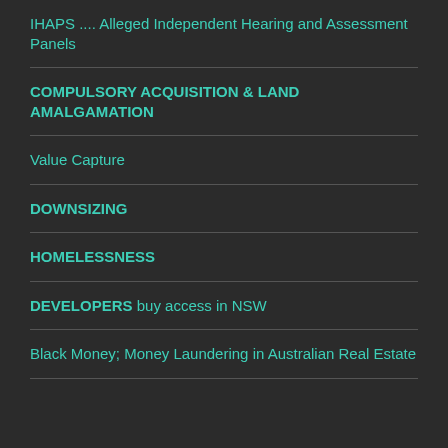IHAPS .... Alleged Independent Hearing and Assessment Panels
COMPULSORY ACQUISITION & LAND AMALGAMATION
Value Capture
DOWNSIZING
HOMELESSNESS
DEVELOPERS buy access in NSW
Black Money; Money Laundering in Australian Real Estate